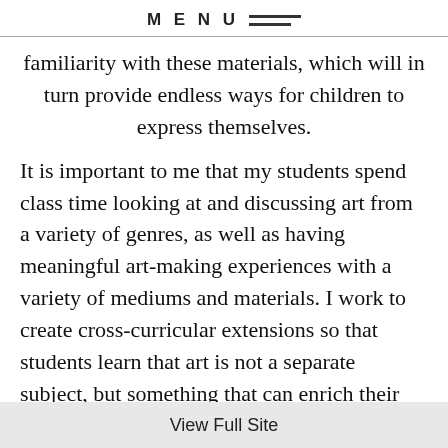MENU
familiarity with these materials, which will in turn provide endless ways for children to express themselves.
It is important to me that my students spend class time looking at and discussing art from a variety of genres, as well as having meaningful art-making experiences with a variety of mediums and materials. I work to create cross-curricular extensions so that students learn that art is not a separate subject, but something that can enrich their learning and growth in all other subject areas. I also strive to create differentiated instruction so that every child, regardless of
View Full Site